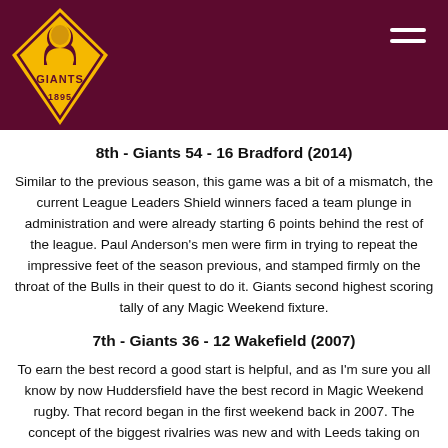[Figure (logo): Huddersfield Giants logo - gold diamond shape with player bust and text 'GIANTS 1895' on dark maroon background header]
8th - Giants 54 - 16 Bradford (2014)
Similar to the previous season, this game was a bit of a mismatch, the current League Leaders Shield winners faced a team plunge in administration and were already starting 6 points behind the rest of the league. Paul Anderson's men were firm in trying to repeat the impressive feet of the season previous, and stamped firmly on the throat of the Bulls in their quest to do it. Giants second highest scoring tally of any Magic Weekend fixture.
7th - Giants 36 - 12 Wakefield (2007)
To earn the best record a good start is helpful, and as I'm sure you all know by now Huddersfield have the best record in Magic Weekend rugby. That record began in the first weekend back in 2007. The concept of the biggest rivalries was new and with Leeds taking on Bradford, Huddersfield were left with Wakefield and a dominant win